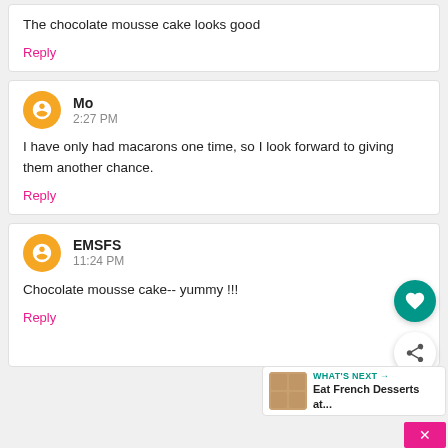The chocolate mousse cake looks good
Reply
Mo
2:27 PM
I have only had macarons one time, so I look forward to giving them another chance.
Reply
EMSFS
11:24 PM
Chocolate mousse cake-- yummy !!!
Reply
[Figure (infographic): Teal heart icon button (FAB), share icon button, and WHAT'S NEXT panel with thumbnail for 'Eat French Desserts at...' and a pink close button]
WHAT'S NEXT → Eat French Desserts at...